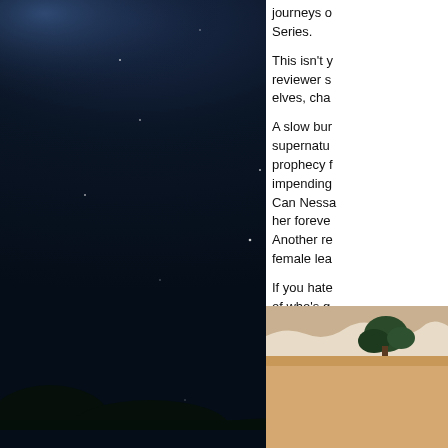[Figure (photo): Night sky photograph showing dark blue sky filled with stars and silhouettes of trees along the bottom edge]
journeys o Series. This isn't y reviewer s elves, cha A slow bur supernatu prophecy f impending Can Nessa her foreve Another re female lea If you hate of who's g Read the f
[Figure (photo): Partial view of a book cover with beige/tan background and a small dark green tree or plant visible at the top]